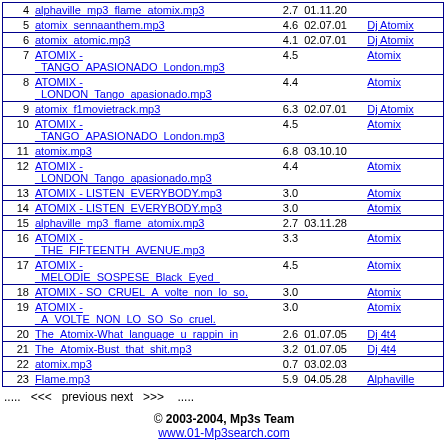| # | Name | Size | Date | Artist |
| --- | --- | --- | --- | --- |
| 4 | alphaville_mp3_flame_atomix.mp3 | 2.7 | 01.11.20 |  |
| 5 | atomix_sennaanthem.mp3 | 4.6 | 02.07.01 | Dj Atomix |
| 6 | atomix_atomic.mp3 | 4.1 | 02.07.01 | Dj Atomix |
| 7 | ATOMIX - TANGO APASIONADO London.mp3 | 4.5 |  | Atomix |
| 8 | ATOMIX - LONDON Tango_apasionado.mp3 | 4.4 |  | Atomix |
| 9 | atomix_f1movietrack.mp3 | 6.3 | 02.07.01 | Dj Atomix |
| 10 | ATOMIX - TANGO APASIONADO London.mp3 | 4.5 |  | Atomix |
| 11 | atomix.mp3 | 6.8 | 03.10.10 |  |
| 12 | ATOMIX - LONDON Tango_apasionado.mp3 | 4.4 |  | Atomix |
| 13 | ATOMIX - LISTEN EVERYBODY.mp3 | 3.0 |  | Atomix |
| 14 | ATOMIX - LISTEN EVERYBODY.mp3 | 3.0 |  | Atomix |
| 15 | alphaville_mp3_flame_atomix.mp3 | 2.7 | 03.11.28 |  |
| 16 | ATOMIX - THE FIFTEENTH AVENUE.mp3 | 3.3 |  | Atomix |
| 17 | ATOMIX - MELODIE SOSPESE Black Eyed | 4.5 |  | Atomix |
| 18 | ATOMIX - SO CRUEL A volte non lo so. | 3.0 |  | Atomix |
| 19 | ATOMIX - A VOLTE NON LO SO So cruel. | 3.0 |  | Atomix |
| 20 | The Atomix-What language u rappin in | 2.6 | 01.07.05 | Dj 4t4 |
| 21 | The Atomix-Bust that shit.mp3 | 3.2 | 01.07.05 | Dj 4t4 |
| 22 | atomix.mp3 | 0.7 | 03.02.03 |  |
| 23 | Flame.mp3 | 5.9 | 04.05.28 | Alphaville |
.....  <<<  previous next  >>>  .....
© 2003-2004, Mp3s Team
www.01-Mp3search.com